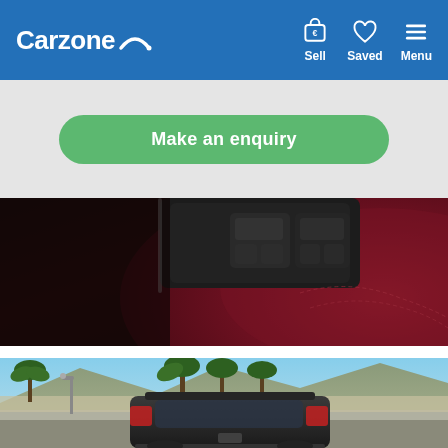Carzone — navigation bar with Sell, Saved, Menu
Make an enquiry
[Figure (photo): Close-up of a car interior showing dark control panel buttons on red/burgundy leather trim]
[Figure (photo): Rear view of a dark SUV parked on a road with palm trees and a mountainous backdrop]